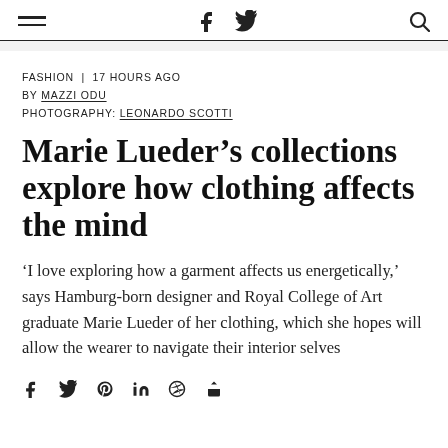Navigation header with hamburger menu, Facebook and Twitter icons, and search icon
FASHION | 17 HOURS AGO
BY MAZZI ODU
PHOTOGRAPHY: LEONARDO SCOTTI
Marie Lueder’s collections explore how clothing affects the mind
‘I love exploring how a garment affects us energetically,’ says Hamburg-born designer and Royal College of Art graduate Marie Lueder of her clothing, which she hopes will allow the wearer to navigate their interior selves
Social sharing icons: Facebook, Twitter, Pinterest, LinkedIn, link, share